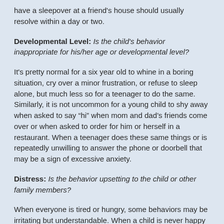have a sleepover at a friend's house should usually resolve within a day or two.
Developmental Level: Is the child's behavior inappropriate for his/her age or developmental level?
It's pretty normal for a six year old to whine in a boring situation, cry over a minor frustration, or refuse to sleep alone, but much less so for a teenager to do the same. Similarly, it is not uncommon for a young child to shy away when asked to say “hi” when mom and dad’s friends come over or when asked to order for him or herself in a restaurant. When a teenager does these same things or is repeatedly unwilling to answer the phone or doorbell that may be a sign of excessive anxiety.
Distress: Is the behavior upsetting to the child or other family members?
When everyone is tired or hungry, some behaviors may be irritating but understandable. When a child is never happy or content even with the most positive situations, this may be a red